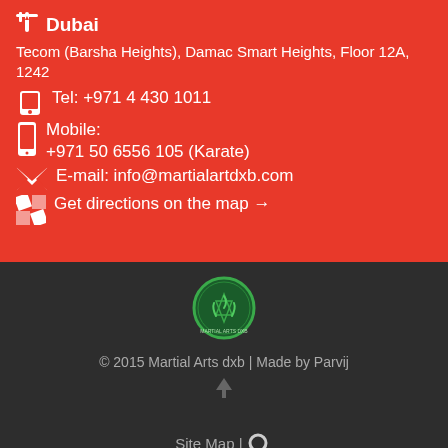Dubai
Tecom (Barsha Heights), Damac Smart Heights, Floor 12A, 1242
Tel: +971 4 430 1011
Mobile: +971 50 6556 105 (Karate)
E-mail: info@martialartdxb.com
Get directions on the map →
[Figure (logo): Martial Arts dxb green circular logo on dark background]
© 2015 Martial Arts dxb | Made by Parvij
Site Map |
[Figure (illustration): Search magnifying glass icon]